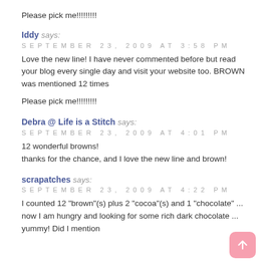Please pick me!!!!!!!!!
Iddy says:
SEPTEMBER 23, 2009 AT 3:58 PM
Love the new line! I have never commented before but read your blog every single day and visit your website too. BROWN was mentioned 12 times
Please pick me!!!!!!!!!
Debra @ Life is a Stitch says:
SEPTEMBER 23, 2009 AT 4:01 PM
12 wonderful browns!
thanks for the chance, and I love the new line and brown!
scrapatches says:
SEPTEMBER 23, 2009 AT 4:22 PM
I counted 12 "brown"(s) plus 2 "cocoa"(s) and 1 "chocolate" ... now I am hungry and looking for some rich dark chocolate ... yummy! Did I mention